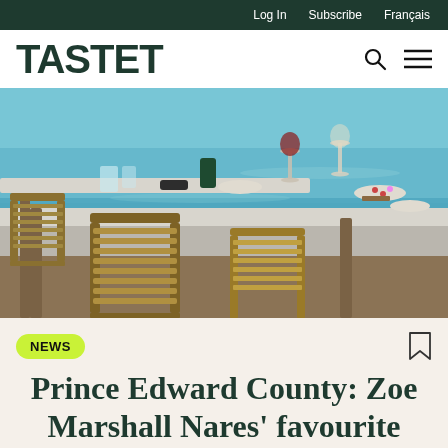Log In   Subscribe   Français
TASTET
[Figure (photo): Outdoor restaurant table set along the waterfront, with wooden slatted chairs, wine glasses, plates of food, overlooking blue-green water.]
NEWS
Prince Edward County: Zoe Marshall Nares' favourite